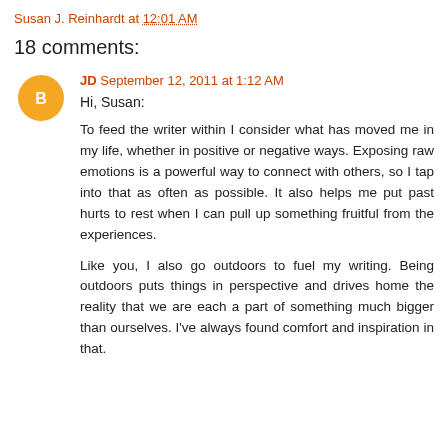Susan J. Reinhardt at 12:01 AM
18 comments:
JD September 12, 2011 at 1:12 AM
Hi, Susan:
To feed the writer within I consider what has moved me in my life, whether in positive or negative ways. Exposing raw emotions is a powerful way to connect with others, so I tap into that as often as possible. It also helps me put past hurts to rest when I can pull up something fruitful from the experiences.
Like you, I also go outdoors to fuel my writing. Being outdoors puts things in perspective and drives home the reality that we are each a part of something much bigger than ourselves. I've always found comfort and inspiration in that.